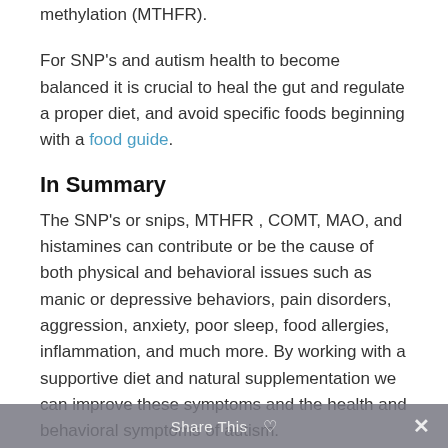methylation (MTHFR).
For SNP's and autism health to become balanced it is crucial to heal the gut and regulate a proper diet, and avoid specific foods beginning with a food guide.
In Summary
The SNP's or snips, MTHFR , COMT, MAO, and histamines can contribute or be the cause of both physical and behavioral issues such as manic or depressive behaviors, pain disorders, aggression, anxiety, poor sleep, food allergies, inflammation, and much more. By working with a supportive diet and natural supplementation we can improve these symptoms and the health and behavioral symptoms of autism. Div exceptionally
Share This